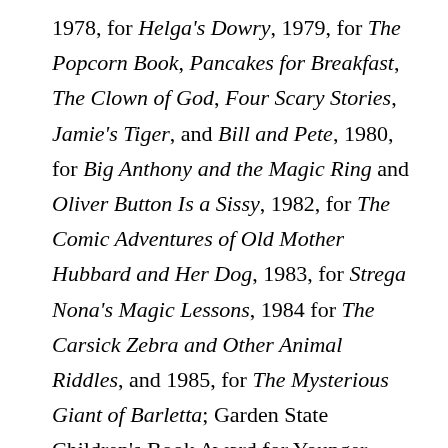1978, for Helga's Dowry, 1979, for The Popcorn Book, Pancakes for Breakfast, The Clown of God, Four Scary Stories, Jamie's Tiger, and Bill and Pete, 1980, for Big Anthony and the Magic Ring and Oliver Button Is a Sissy, 1982, for The Comic Adventures of Old Mother Hubbard and Her Dog, 1983, for Strega Nona's Magic Lessons, 1984 for The Carsick Zebra and Other Animal Riddles, and 1985, for The Mysterious Giant of Barletta; Garden State Children's Book Award for Younger Nonfiction, New Jersey Library Association, 1980, for The Quicksand Book; Golden Kite Award for Illustration, Society of Children's